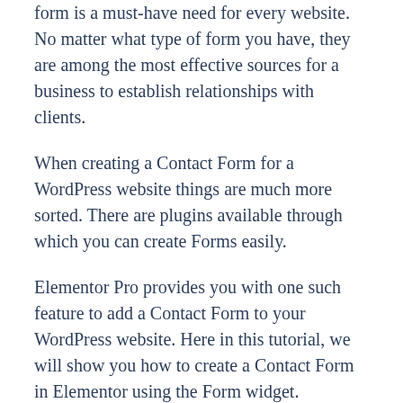form is a must-have need for every website. No matter what type of form you have, they are among the most effective sources for a business to establish relationships with clients.
When creating a Contact Form for a WordPress website things are much more sorted. There are plugins available through which you can create Forms easily.
Elementor Pro provides you with one such feature to add a Contact Form to your WordPress website. Here in this tutorial, we will show you how to create a Contact Form in Elementor using the Form widget. Moreover, then, in the end, we will see a solution to save the submissions in the database.